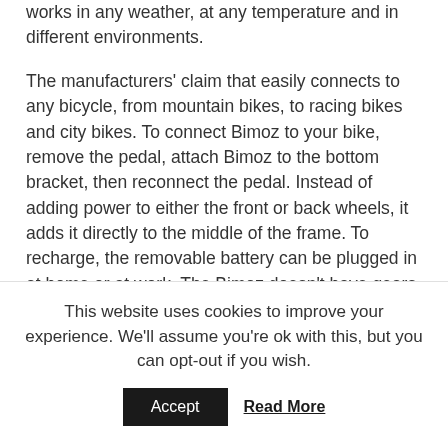works in any weather, at any temperature and in different environments.
The manufacturers' claim that easily connects to any bicycle, from mountain bikes, to racing bikes and city bikes. To connect Bimoz to your bike, remove the pedal, attach Bimoz to the bottom bracket, then reconnect the pedal. Instead of adding power to either the front or back wheels, it adds it directly to the middle of the frame. To recharge, the removable battery can be plugged in at home or at work. The Bimoz doesn't have gears. Instead it uses a direct drive motor. It has a standard range of about 80-92 miles and can usually hit
This website uses cookies to improve your experience. We'll assume you're ok with this, but you can opt-out if you wish.
Accept
Read More